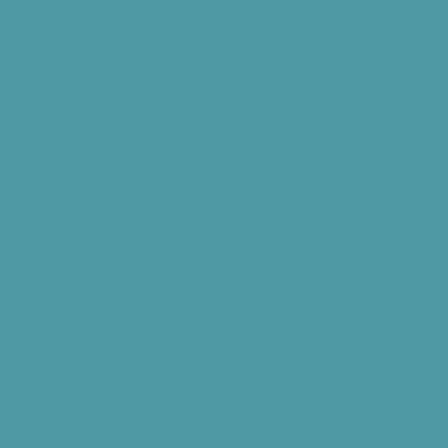[Figure (illustration): Solid teal/muted cyan background fill covering the entire page, approximately #4e9aa3. No visible text or other content elements.]